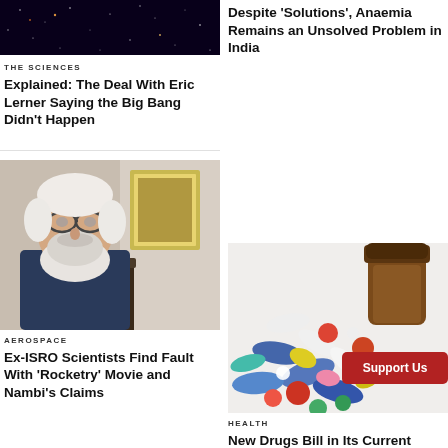[Figure (photo): Dark starfield/galaxy image]
Despite ‘Solutions’, Anaemia Remains an Unsolved Problem in India
THE SCIENCES
Explained: The Deal With Eric Lerner Saying the Big Bang Didn’t Happen
[Figure (photo): Elderly bearded man with glasses sitting in front of a framed photo]
[Figure (photo): Colorful assorted pills spilling from a medicine bottle]
AEROSPACE
Ex-ISRO Scientists Find Fault With ‘Rocketry’ Movie and Nambi’s Claims
HEALTH
New Drugs Bill in Its Current Form Won’t Reform the Existing System